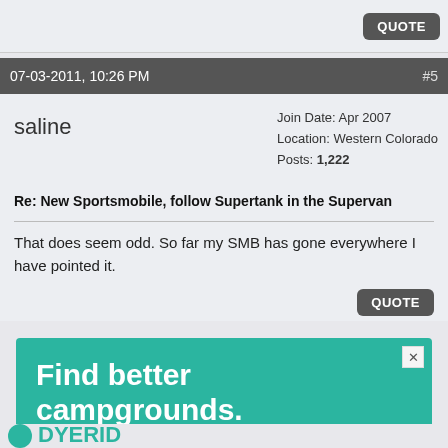QUOTE
07-03-2011, 10:26 PM   #5
saline
Join Date: Apr 2007
Location: Western Colorado
Posts: 1,222
Re: New Sportsmobile, follow Supertank in the Supervan
That does seem odd. So far my SMB has gone everywhere I have pointed it.
QUOTE
[Figure (infographic): Advertisement for campground review service. Teal background with white bold text: 'Find better campgrounds.' and subtitle 'Get exclusive access to better reviews.' with a close button (X) in top right.]
[Figure (logo): Partial logo at bottom - circular teal mountain icon and partial text 'DYERID' or similar brand name in teal letters]